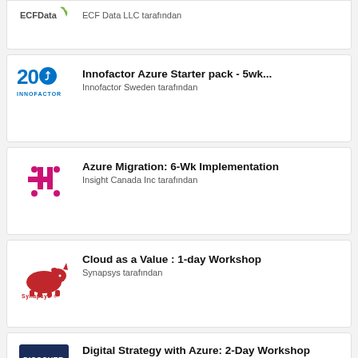ECF Data LLC tarafından
Innofactor Azure Starter pack - 5wk... — Innofactor Sweden tarafından
Azure Migration: 6-Wk Implementation — Insight Canada Inc tarafından
Cloud as a Value : 1-day Workshop — Synapsys tarafından
Digital Strategy with Azure: 2-Day Workshop — DISCOVER IT (UK) LIMITED tarafından